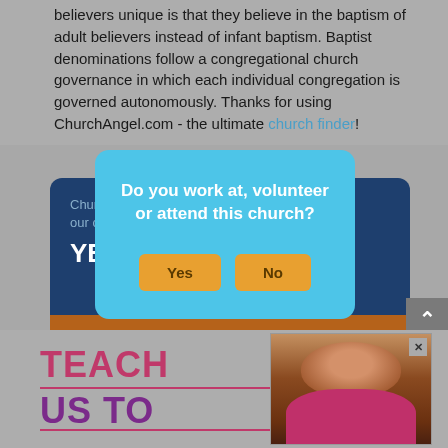believers unique is that they believe in the baptism of adult believers instead of infant baptism. Baptist denominations follow a congregational church governance in which each individual congregation is governed autonomously. Thanks for using ChurchAngel.com - the ultimate church finder!
[Figure (screenshot): Dark blue card partially visible behind a modal dialog. Card shows text 'Church... to our co...' and 'YES' in bold white, with orange button at bottom.]
[Figure (screenshot): Light blue modal dialog asking 'Do you work at, volunteer or attend this church?' with Yes and No orange buttons.]
[Figure (screenshot): Gray scroll-to-top button with upward caret arrow on the right side.]
[Figure (screenshot): Advertisement at the bottom showing 'TEACH US TO' in pink/purple text on left side, and a photo of a smiling woman with curly hair on the right.]